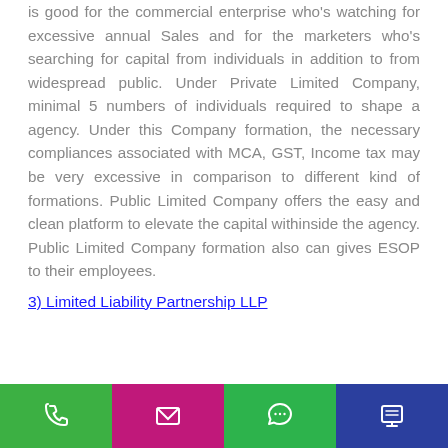is good for the commercial enterprise who's watching for excessive annual Sales and for the marketers who's searching for capital from individuals in addition to from widespread public. Under Private Limited Company, minimal 5 numbers of individuals required to shape a agency. Under this Company formation, the necessary compliances associated with MCA, GST, Income tax may be very excessive in comparison to different kind of formations. Public Limited Company offers the easy and clean platform to elevate the capital withinside the agency. Public Limited Company formation also can gives ESOP to their employees.
3) Limited Liability Partnership LLP